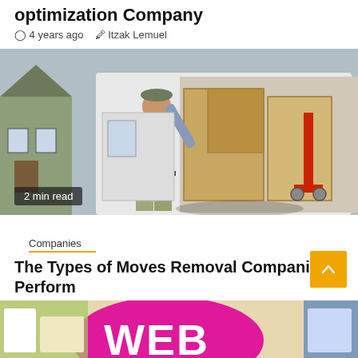optimization Company
4 years ago  Itzak Lemuel
[Figure (photo): Man loading large cardboard boxes into the back of a white van, with a red hand truck visible. A house is seen in the background. Overlay text: 2 min read]
Companies
The Types of Moves Removal Companies Perform
4 years ago  Itzak Lemuel
[Figure (photo): Partial image at bottom showing colorful web design promotional material with text WEB visible in large pink/magenta letters]